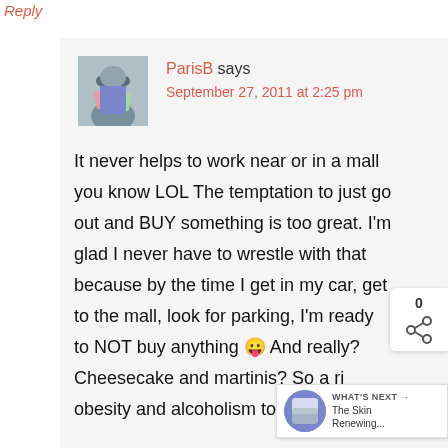Reply
[Figure (photo): Avatar photo of ParisB, a person with short dark hair]
ParisB says
September 27, 2011 at 2:25 pm
It never helps to work near or in a mall you know LOL The temptation to just go out and BUY something is too great. I'm glad I never have to wrestle with that because by the time I get in my car, get to the mall, look for parking, I'm ready to NOT buy anything 😛 And really? Cheesecake and martinis? So a risk of obesity and alcoholism too? 😛